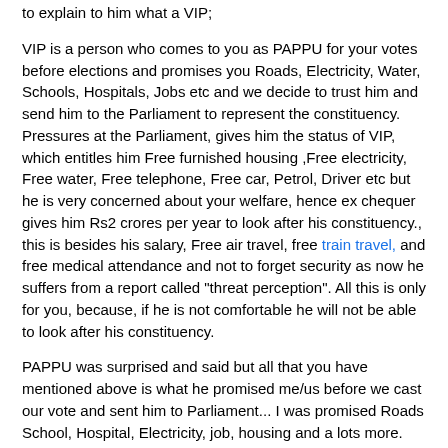to explain to him what a VIP;
VIP is a person who comes to you as PAPPU for your votes before elections and promises you Roads, Electricity, Water, Schools, Hospitals, Jobs etc and we decide to trust him and send him to the Parliament to represent the constituency. Pressures at the Parliament, gives him the status of VIP, which entitles him Free furnished housing ,Free electricity, Free water, Free telephone, Free car, Petrol, Driver etc but he is very concerned about your welfare, hence ex chequer gives him Rs2 crores per year to look after his constituency., this is besides his salary, Free air travel, free train travel, and free medical attendance and not to forget security as now he suffers from a report called "threat perception". All this is only for you, because, if he is not comfortable he will not be able to look after his constituency.
PAPPU was surprised and said but all that you have mentioned above is what he promised me/us before we cast our vote and sent him to Parliament... I was promised Roads School, Hospital, Electricity, job, housing and a lots more.
He was a Pappu, because you/we trusted him, he is now a VIP and we are all PAPPUs.
He has everything he promised you...and you are looking towards the